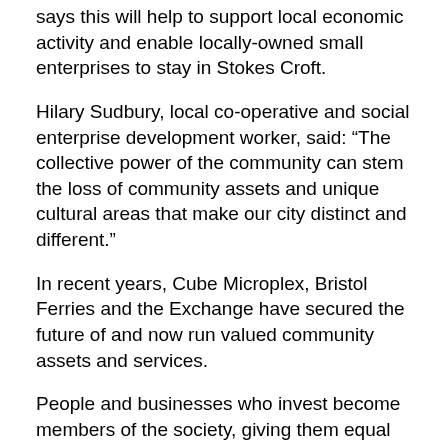says this will help to support local economic activity and enable locally-owned small enterprises to stay in Stokes Croft.
Hilary Sudbury, local co-operative and social enterprise development worker, said: “The collective power of the community can stem the loss of community assets and unique cultural areas that make our city distinct and different.”
In recent years, Cube Microplex, Bristol Ferries and the Exchange have secured the future of and now run valued community assets and services.
People and businesses who invest become members of the society, giving them equal voting rights and a say, alongside other members, in the future direction of the Land Trust. The project has a forecasted 3% return for investors.
To find out more about SCLT’s community share offer